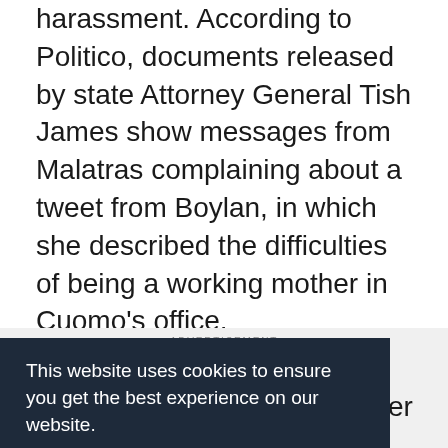harassment. According to Politico, documents released by state Attorney General Tish James show messages from Malatras complaining about a tweet from Boylan, in which she described the difficulties of being a working mother in Cuomo's office.
[Figure (screenshot): Advertisement banner for HACU 36th Annual Conference with dark blue background, orange and white text reading 'Championing Hispanic Higher Education Success: Rebuilding a More Resilient and Inclusive America' with HACU logo on right and close button]
[Figure (screenshot): Cookie consent banner overlay with dark navy background. Text: 'This website uses cookies to ensure you get the best experience on our website.' with 'Learn more' underlined link and a teal 'Got it!' button]
release some of her cray emails!" and liking a